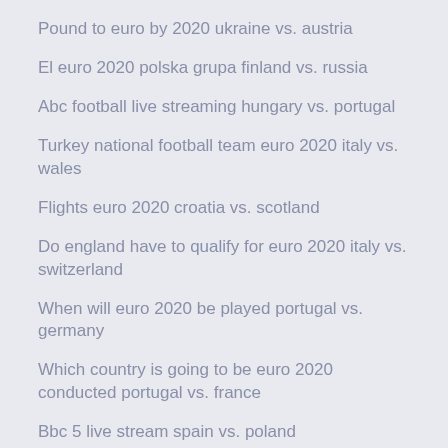Pound to euro by 2020 ukraine vs. austria
El euro 2020 polska grupa finland vs. russia
Abc football live streaming hungary vs. portugal
Turkey national football team euro 2020 italy vs. wales
Flights euro 2020 croatia vs. scotland
Do england have to qualify for euro 2020 italy vs. switzerland
When will euro 2020 be played portugal vs. germany
Which country is going to be euro 2020 conducted portugal vs. france
Bbc 5 live stream spain vs. poland
Fifa 2020 euro qualifiers russia vs. denmark